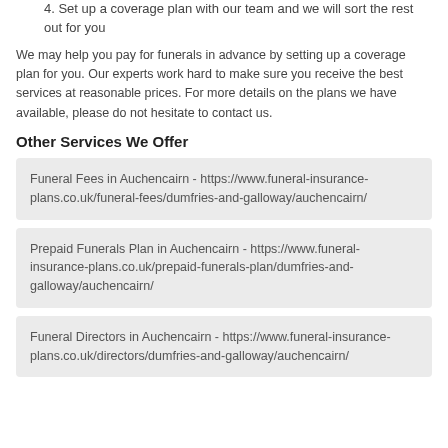4. Set up a coverage plan with our team and we will sort the rest out for you
We may help you pay for funerals in advance by setting up a coverage plan for you. Our experts work hard to make sure you receive the best services at reasonable prices. For more details on the plans we have available, please do not hesitate to contact us.
Other Services We Offer
Funeral Fees in Auchencairn - https://www.funeral-insurance-plans.co.uk/funeral-fees/dumfries-and-galloway/auchencairn/
Prepaid Funerals Plan in Auchencairn - https://www.funeral-insurance-plans.co.uk/prepaid-funerals-plan/dumfries-and-galloway/auchencairn/
Funeral Directors in Auchencairn - https://www.funeral-insurance-plans.co.uk/directors/dumfries-and-galloway/auchencairn/